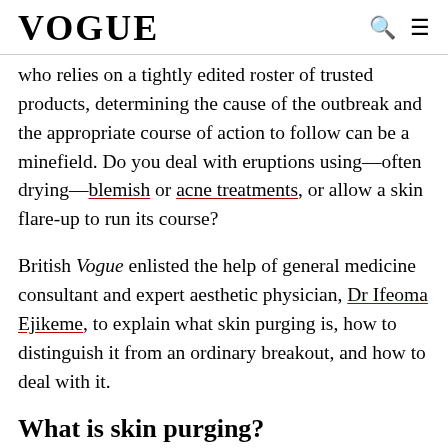VOGUE
who relies on a tightly edited roster of trusted products, determining the cause of the outbreak and the appropriate course of action to follow can be a minefield. Do you deal with eruptions using—often drying—blemish or acne treatments, or allow a skin flare-up to run its course?
British Vogue enlisted the help of general medicine consultant and expert aesthetic physician, Dr Ifeoma Ejikeme, to explain what skin purging is, how to distinguish it from an ordinary breakout, and how to deal with it.
What is skin purging?